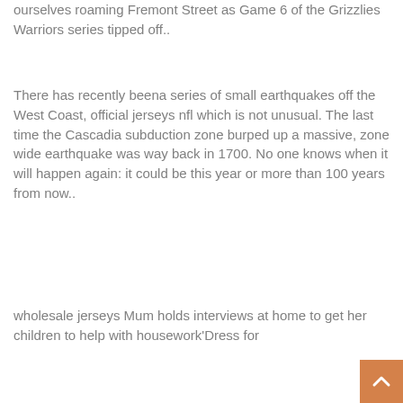ourselves roaming Fremont Street as Game 6 of the Grizzlies Warriors series tipped off..
There has recently beena series of small earthquakes off the West Coast, official jerseys nfl which is not unusual. The last time the Cascadia subduction zone burped up a massive, zone wide earthquake was way back in 1700. No one knows when it will happen again: it could be this year or more than 100 years from now..
wholesale jerseys Mum holds interviews at home to get her children to help with housework'Dress for